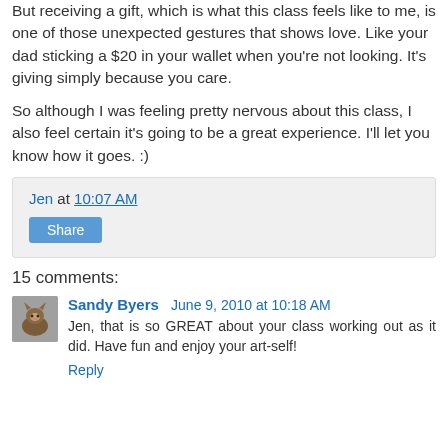But receiving a gift, which is what this class feels like to me, is one of those unexpected gestures that shows love. Like your dad sticking a $20 in your wallet when you're not looking. It's giving simply because you care.
So although I was feeling pretty nervous about this class, I also feel certain it's going to be a great experience. I'll let you know how it goes. :)
Jen at 10:07 AM
Share
15 comments:
Sandy Byers  June 9, 2010 at 10:18 AM
Jen, that is so GREAT about your class working out as it did. Have fun and enjoy your art-self!
Reply